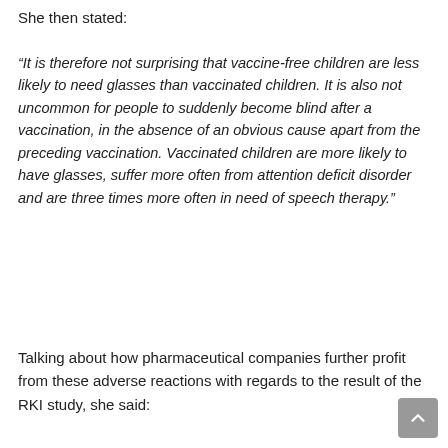She then stated:
“It is therefore not surprising that vaccine-free children are less likely to need glasses than vaccinated children. It is also not uncommon for people to suddenly become blind after a vaccination, in the absence of an obvious cause apart from the preceding vaccination. Vaccinated children are more likely to have glasses, suffer more often from attention deficit disorder and are three times more often in need of speech therapy.”
Talking about how pharmaceutical companies further profit from these adverse reactions with regards to the result of the RKI study, she said: